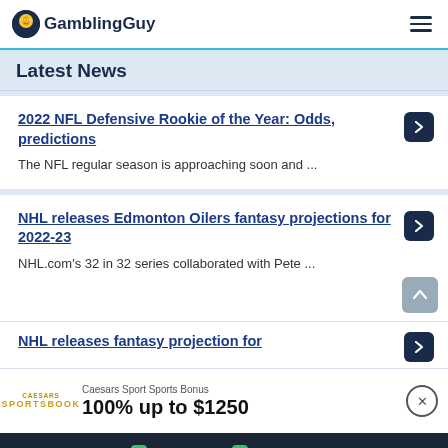GamblingGuy
Latest News
2022 NFL Defensive Rookie of the Year: Odds, predictions
The NFL regular season is approaching soon and ...
NHL releases Edmonton Oilers fantasy projections for 2022-23
NHL.com's 32 in 32 series collaborated with Pete ...
NHL releases fantasy projection for
Caesars Sport Sports Bonus
100% up to $1250
Betting | Betting Offers 9 | Casino Offers 9 | News | Social Casinos